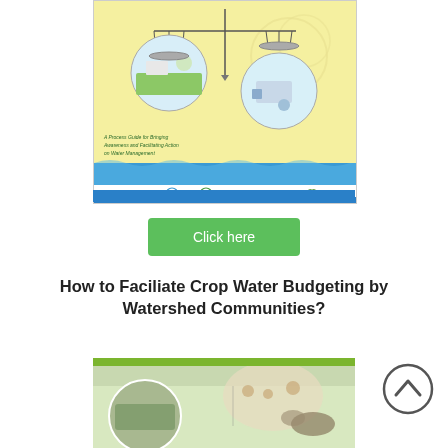[Figure (illustration): Book cover titled 'A Process Guide for Bringing Awareness and Facilitating Action on Water Management'. Features a balance scale illustration with a rural landscape on the left and water infrastructure on the right, yellow background, blue wave strip, logos including KFW at the bottom. Blue bar at the very bottom of the cover.]
[Figure (other): Green 'Click here' button]
How to Faciliate Crop Water Budgeting by Watershed Communities?
[Figure (illustration): Partial view of a second book cover with green top bar and a photo collage showing rural/agricultural community scenes.]
[Figure (other): Circular up-arrow navigation button (chevron up icon in dark circle outline)]